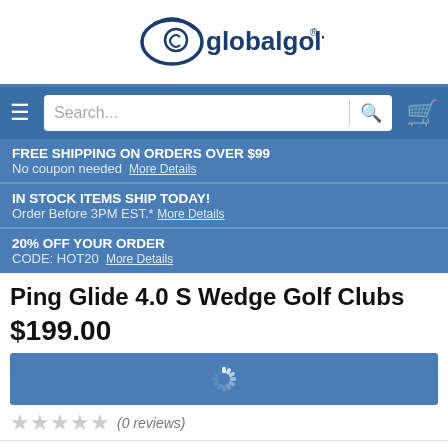[Figure (logo): Global Golf logo with stylized golf ball and swoosh]
[Figure (screenshot): Navigation bar with hamburger menu, search box, and cart icon]
FREE SHIPPING ON ORDERS OVER $99
No coupon needed  More Details
IN STOCK ITEMS SHIP TODAY!
Order Before 3PM EST.*  More Details
20% OFF YOUR ORDER
CODE: HOT20  More Details
Ping Glide 4.0 S Wedge Golf Clubs
$199.00
[Figure (photo): Blue loading spinner/throbber on blue background]
(0 reviews)
[Figure (photo): Bottom portion of a golf wedge club head, dark/silver color]